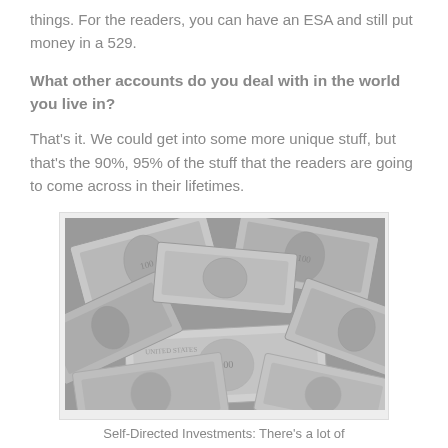things. For the readers, you can have an ESA and still put money in a 529.
What other accounts do you deal with in the world you live in?
That's it. We could get into some more unique stuff, but that's the 90%, 95% of the stuff that the readers are going to come across in their lifetimes.
[Figure (photo): A large pile of US $100 bills scattered randomly on a surface, photographed from above.]
Self-Directed Investments: There's a lot of